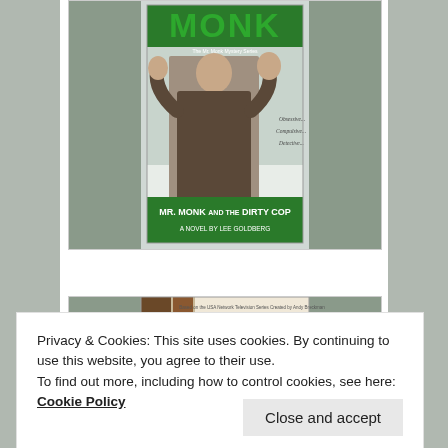[Figure (illustration): Book cover: MONK - MR. MONK AND THE DIRTY COP, A Novel by Lee Goldberg. Shows a man in a brown suit with hands raised, green MONK title text, green banner with book title at bottom.]
[Figure (illustration): Partial book cover: MONK in red bold letters on brown striped background, text at top reads 'Based on the USA Network Television Series Created by Andy Breckman']
Privacy & Cookies: This site uses cookies. By continuing to use this website, you agree to their use.
To find out more, including how to control cookies, see here: Cookie Policy
Close and accept